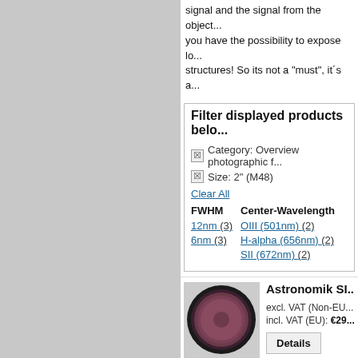signal and the signal from the object... you have the possibility to expose lo... structures! So its not a "must", it´s a...
Filter displayed products belo...
Category: Overview photographic f... | Size: 2" (M48)
Clear All
| FWHM | Center-Wavelength |
| --- | --- |
| 12nm (3) | OIII (501nm) (2) |
| 6nm (3) | H-alpha (656nm) (2) |
|  | SII (672nm) (2) |
[Figure (photo): Astronomik SII filter - circular optical filter with dark rim, reddish-purple glass]
Astronomik SII...
excl. VAT (Non-EU...
incl. VAT (EU): €29...
[Figure (photo): Astronomik SII filter - second product, circular optical filter with dark rim, partially visible]